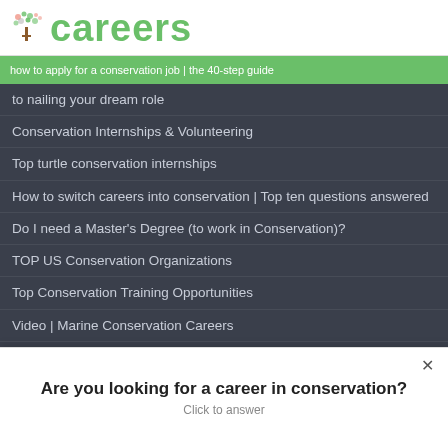Careers
how to apply for a conservation job | the 40-step guide
to nailing your dream role
Conservation Internships & Volunteering
Top turtle conservation internships
How to switch careers into conservation | Top ten questions answered
Do I need a Master's Degree (to work in Conservation)?
TOP US Conservation Organizations
Top Conservation Training Opportunities
Video | Marine Conservation Careers
Top Conservation Scholarships
Marine Conservation Jobs | Protecting the Blue Planet
Switching careers into conservation | A snapshot of jobs
Are you looking for a career in conservation?
Click to answer